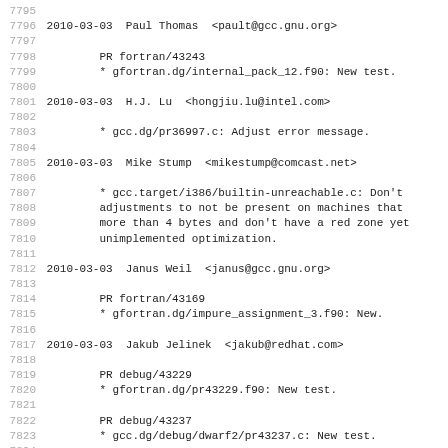7795
7796 2010-03-03  Paul Thomas  <pault@gcc.gnu.org>
7797
7798		PR fortran/43243
7799		* gfortran.dg/internal_pack_12.f90: New test.
7800
7801 2010-03-03  H.J. Lu  <hongjiu.lu@intel.com>
7802
7803		* gcc.dg/pr36997.c: Adjust error message.
7804
7805 2010-03-03  Mike Stump  <mikestump@comcast.net>
7806
7807		* gcc.target/i386/builtin-unreachable.c: Don't
7808		adjustments to not be present on machines that
7809		more than 4 bytes and don't have a red zone yet
7810		unimplemented optimization.
7811
7812 2010-03-03  Janus Weil  <janus@gcc.gnu.org>
7813
7814		PR fortran/43169
7815		* gfortran.dg/impure_assignment_3.f90: New.
7816
7817 2010-03-03  Jakub Jelinek  <jakub@redhat.com>
7818
7819		PR debug/43229
7820		* gfortran.dg/pr43229.f90: New test.
7821
7822		PR debug/43237
7823		* gcc.dg/debug/dwarf2/pr43237.c: New test.
7824
7825		PR debug/43177
7826		* gcc.dg/guality/pr43177.c: New test.